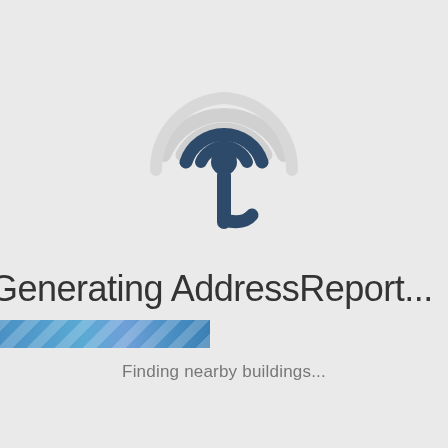[Figure (logo): A stylized location/signal icon showing concentric arcs above a pin-drop shape with a curved tail, rendered in dark slate blue and light gray arcs, resembling a wireless signal or map marker logo]
Generating AddressReport...
[Figure (infographic): A horizontal progress bar showing approximately 20% completion, filled with a blue gradient with diagonal stripe pattern on the left side]
Finding nearby buildings...